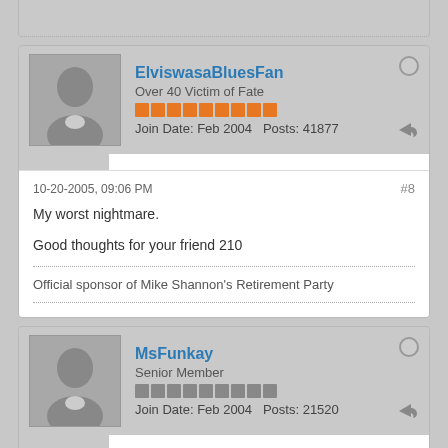[partial post card top]
ElviswasaBluesFan — Over 40 Victim of Fate — Join Date: Feb 2004  Posts: 41877
10-20-2005, 09:06 PM  #8
My worst nightmare.

Good thoughts for your friend 210
Official sponsor of Mike Shannon's Retirement Party
MsFunkay — Senior Member — Join Date: Feb 2004  Posts: 21520
10-20-2005, 09:14 PM  #9